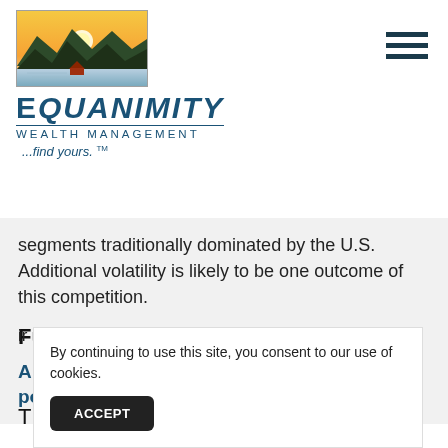[Figure (logo): Equanimity Wealth Management logo with landscape image of mountains, water, and sunset above the company name]
segments traditionally dominated by the U.S. Additional volatility is likely to be one outcome of this competition.
Fun Story
Americans who lose their passport can now pop
ir
By continuing to use this site, you consent to our use of cookies.
T